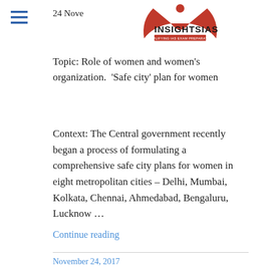24 November 2017 | INSIGHTSIAS SIMPLIFYING IAS EXAM PREPARATION
Topic: Role of women and women's organization.  'Safe city' plan for women
Context: The Central government recently began a process of formulating a comprehensive safe city plans for women in eight metropolitan cities – Delhi, Mumbai, Kolkata, Chennai, Ahmedabad, Bengaluru, Lucknow ...
Continue reading